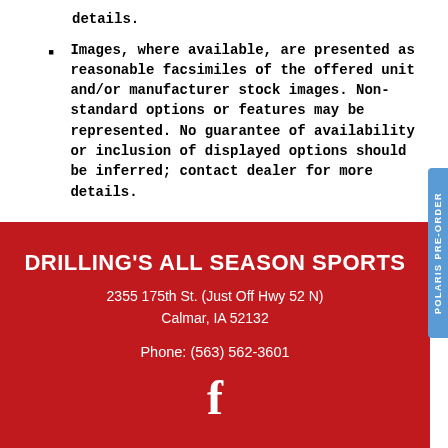details.
Images, where available, are presented as reasonable facsimiles of the offered unit and/or manufacturer stock images. Non-standard options or features may be represented. No guarantee of availability or inclusion of displayed options should be inferred; contact dealer for more details.
DRILLING'S ALL SEASON SPORTS
2355 175th St. (Just Off Hwy 52 N)
Calmar, IA 52132
Phone: (563) 562-3601
[Figure (logo): Facebook logo icon in white]
[Figure (other): POLARIS PRE-ORDER vertical side tab in blue]